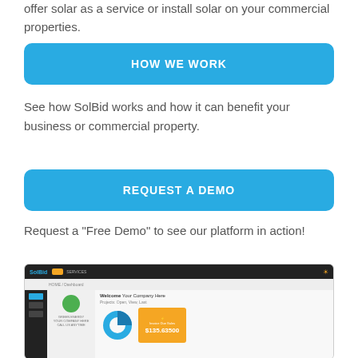offer solar as a service or install solar on your commercial properties.
[Figure (screenshot): Blue rounded button labeled HOW WE WORK]
See how SolBid works and how it can benefit your business or commercial property.
[Figure (screenshot): Blue rounded button labeled REQUEST A DEMO]
Request a "Free Demo" to see our platform in action!
[Figure (screenshot): Screenshot of SolBid platform dashboard showing Welcome Your Company Here with a donut chart and orange revenue card showing $135.63500]